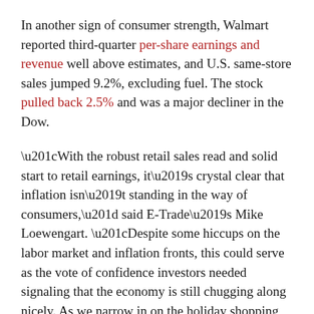In another sign of consumer strength, Walmart reported third-quarter per-share earnings and revenue well above estimates, and U.S. same-store sales jumped 9.2%, excluding fuel. The stock pulled back 2.5% and was a major decliner in the Dow.
“With the robust retail sales read and solid start to retail earnings, it’s crystal clear that inflation isn’t standing in the way of consumers,” said E-Trade’s Mike Loewengart. “Despite some hiccups on the labor market and inflation fronts, this could serve as the vote of confidence investors needed signaling that the economy is still chugging along nicely. As we narrow in on the holiday shopping season, the question remains if better than expected numbers from retailers from Q3 can continue to close out 2021.”
On some level, investors expected strong retail earnings, Sam